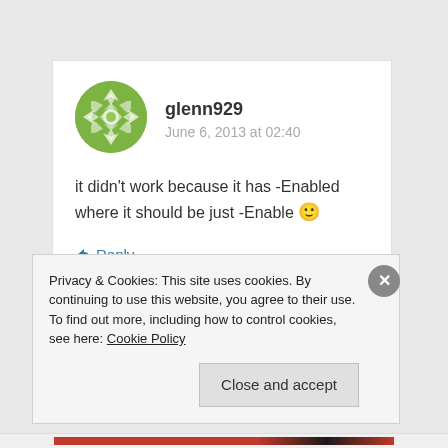[Figure (illustration): Green geometric circular avatar for user glenn929]
glenn929
June 6, 2013 at 02:40
it didn't work because it has -Enabled where it should be just -Enable 🙂
↳ Reply
Privacy & Cookies: This site uses cookies. By continuing to use this website, you agree to their use.
To find out more, including how to control cookies, see here: Cookie Policy
Close and accept